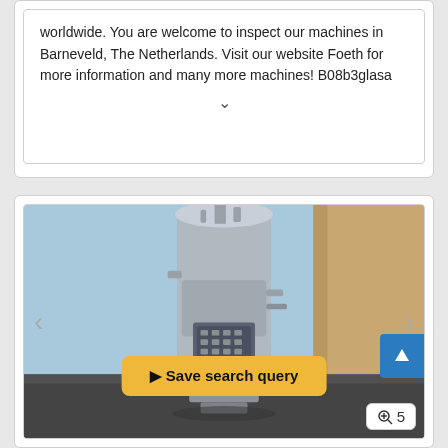worldwide. You are welcome to inspect our machines in Barneveld, The Netherlands. Visit our website Foeth for more information and many more machines! B08b3glasa
[Figure (photo): Industrial machine (large stainless steel vessel/filter unit) photographed outdoors next to a building. Navigation arrows on left and right. Save search query button and zoom/image count badge visible.]